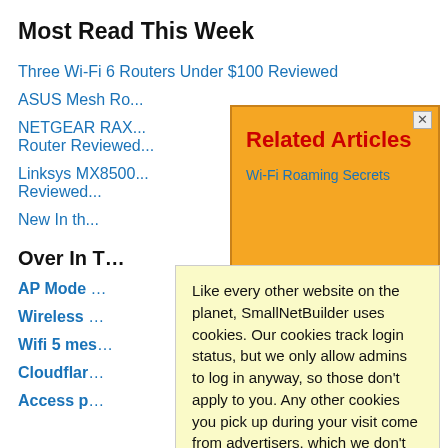Most Read This Week
Three Wi-Fi 6 Routers Under $100 Reviewed
ASUS Mesh Ro...
NETGEAR RAX... Router Reviewed...
Linksys MX8500... Reviewed...
New In th...
Over In T...
AP Mode
Wireless
Wifi 5 mes...
Cloudflar...
Access p...
[Figure (screenshot): Related Articles modal popup with orange border, showing 'Related Articles' in red bold text, and a Wi-Fi Roaming Secrets link partially visible]
Like every other website on the planet, SmallNetBuilder uses cookies. Our cookies track login status, but we only allow admins to log in anyway, so those don't apply to you. Any other cookies you pick up during your visit come from advertisers, which we don't control.
If you continue to use the site, you agree to tolerate our use of cookies. Thank you!